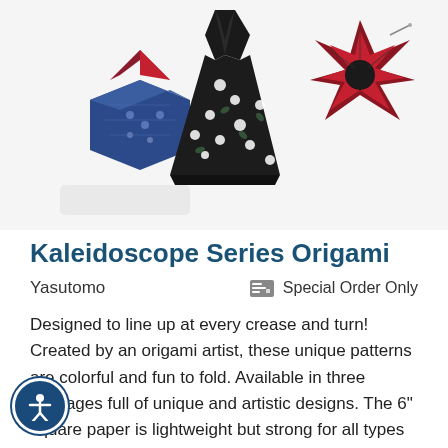[Figure (photo): Photo of three origami paper folded objects on white background: left is a small box/fan shape in dark blue patterned paper, center is a dress/kimono shape in dark paper with white floral pattern, right is a flower/star shape in red and black patterned paper.]
Kaleidoscope Series Origami
Yasutomo
Special Order Only
Designed to line up at every crease and turn! Created by an origami artist, these unique patterns are colorful and fun to fold. Available in three packages full of unique and artistic designs. The 6" square paper is lightweight but strong for all types of models, simple to complex.